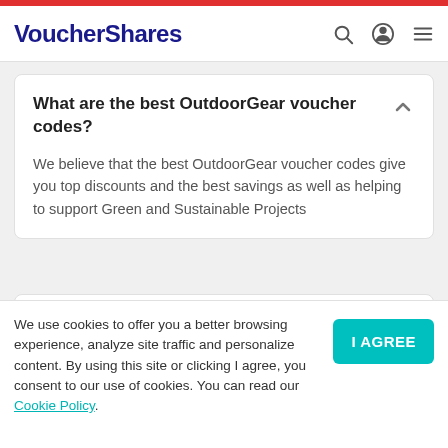VoucherShares
What are the best OutdoorGear voucher codes?
We believe that the best OutdoorGear voucher codes give you top discounts and the best savings as well as helping to support Green and Sustainable Projects
Why should I choose OutdoorGear voucher codes from Voucher Shares?
We use cookies to offer you a better browsing experience, analyze site traffic and personalize content. By using this site or clicking I agree, you consent to our use of cookies. You can read our Cookie Policy.